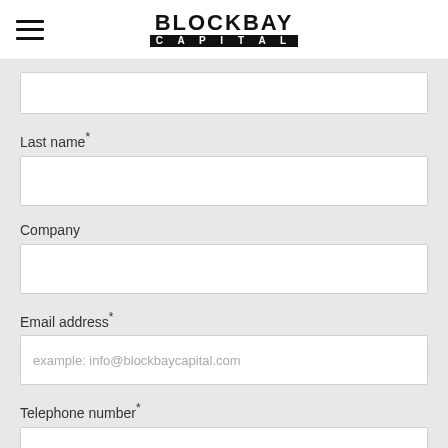BLOCKBAY CAPITAL
(First name input field - top, partially visible)
Last name*
(Last name input field)
Company
(Company input field)
Email address*
example: info@blockbaycapital.com
Telephone number*
(Telephone number input field - bottom, partially visible)